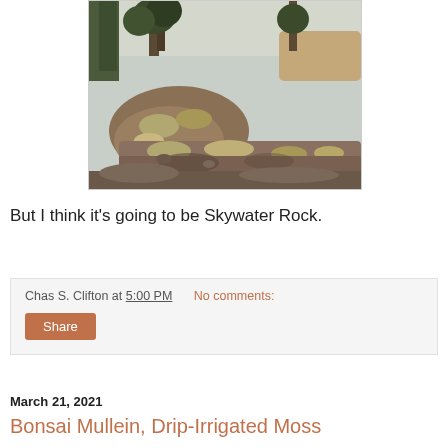[Figure (photo): Outdoor photograph of rocky terrain with lichen-covered rocks and pine trees in the background, hazy sky visible.]
But I think it's going to be Skywater Rock.
Chas S. Clifton at 5:00 PM   No comments:
Share
March 21, 2021
Bonsai Mullein, Drip-Irrigated Moss